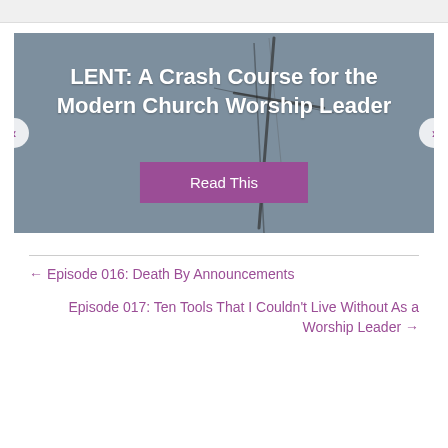[Figure (illustration): Slider banner image with dark grey/blue-grey background showing abstract cross/brush strokes, with bold white title text 'LENT: A Crash Course for the Modern Church Worship Leader' and a purple 'Read This' button. Left and right navigation arrow buttons on either side.]
← Episode 016: Death By Announcements
Episode 017: Ten Tools That I Couldn't Live Without As a Worship Leader →